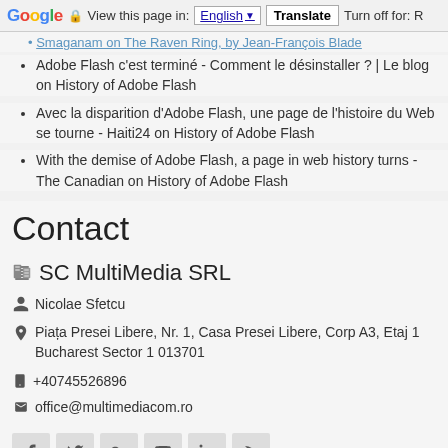Google | View this page in: English | Translate | Turn off for: R
Smaganam on The Raven Ring, by Jean-François Blade
Adobe Flash c'est terminé - Comment le désinstaller ? | Le blog on History of Adobe Flash
Avec la disparition d'Adobe Flash, une page de l'histoire du Web se tourne - Haiti24 on History of Adobe Flash
With the demise of Adobe Flash, a page in web history turns - The Canadian on History of Adobe Flash
Contact
SC MultiMedia SRL
Nicolae Sfetcu
Piața Presei Libere, Nr. 1, Casa Presei Libere, Corp A3, Etaj 1 Bucharest Sector 1 013701
+40745526896
office@multimediacom.ro
[Figure (infographic): Row of social media icons: Facebook, Twitter, Google+, YouTube, LinkedIn, RSS feed]